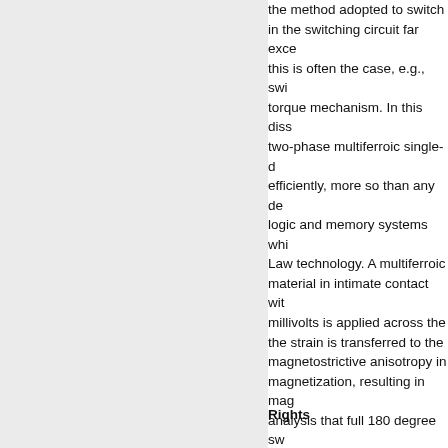the method adopted to switch in the switching circuit far exceeds this is often the case, e.g., switching torque mechanism. In this dissertation, two-phase multiferroic single-domain efficiently, more so than any device logic and memory systems which Law technology. A multiferroic material in intimate contact with millivolts is applied across the the strain is transferred to the magnetostrictive anisotropy in magnetization, resulting in magnetization analysis that full 180 degree switching potential landscape of the magnetization temperature thermal fluctuations switching. With proper choice made as low as one attoJoule delay can be achieved so that computing. The above idea, extremely low-power, yet high-performance memory system. Such processes implantable medical devices that motion.
Rights